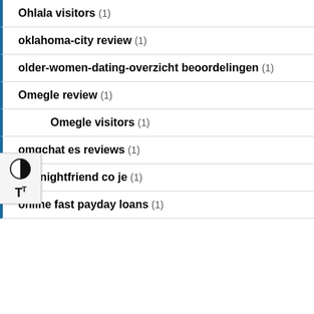Ohlala visitors (1)
oklahoma-city review (1)
older-women-dating-overzicht beoordelingen (1)
Omegle review (1)
Omegle visitors (1)
omgchat es reviews (1)
Onenightfriend co je (1)
online fast payday loans (1)